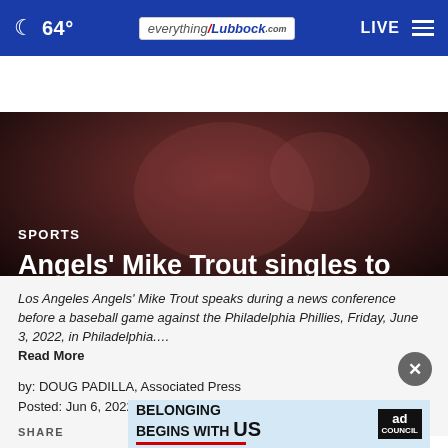🌙 64° | everything/Lubbock.com | LIVE
[Figure (photo): Hero background photo of Los Angeles Angels player, dark reddish-brown tones]
SPORTS
Angels' Mike Trout singles to end 0-for-26 slide
Los Angeles Angels' Mike Trout speaks during a news conference before a baseball game against the Philadelphia Phillies, Friday, June 3, 2022, in Philadelphia.... Read More
by: DOUG PADILLA, Associated Press
Posted: Jun 6, 2022 / 11:07 PM CDT
Updated: Jun 6, 2022 / 11:07 PM CDT
SHARE
[Figure (infographic): Ad Council banner: BELONGING BEGINS WITH US with red underline and Ad Council logo]